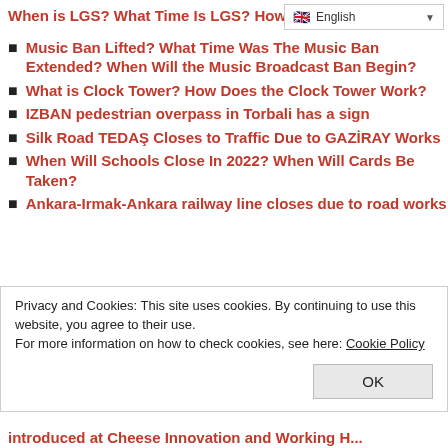When is LGS? What Time Is LGS? How Long Will It Last?
Music Ban Lifted? What Time Was The Music Ban Extended? When Will the Music Broadcast Ban Begin?
What is Clock Tower? How Does the Clock Tower Work?
IZBAN pedestrian overpass in Torbali has a sign
Silk Road TEDAŞ Closes to Traffic Due to GAZİRAY Works
When Will Schools Close In 2022? When Will Cards Be Taken?
Ankara-Irmak-Ankara railway line closes due to road works
Privacy and Cookies: This site uses cookies. By continuing to use this website, you agree to their use.
For more information on how to check cookies, see here: Cookie Policy
introduced at Cheese Innovation and Working H...